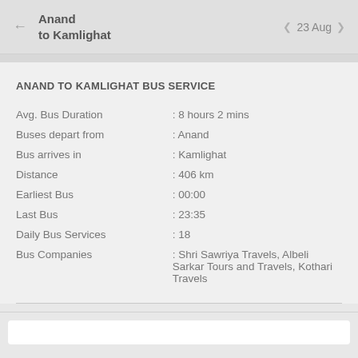Anand to Kamlighat | 23 Aug
ANAND TO KAMLIGHAT BUS SERVICE
|  |  |
| --- | --- |
| Avg. Bus Duration | : 8 hours 2 mins |
| Buses depart from | : Anand |
| Bus arrives in | : Kamlighat |
| Distance | : 406 km |
| Earliest Bus | : 00:00 |
| Last Bus | : 23:35 |
| Daily Bus Services | : 18 |
| Bus Companies | : Shri Sawriya Travels, Albeli Sarkar Tours and Travels, Kothari Travels |